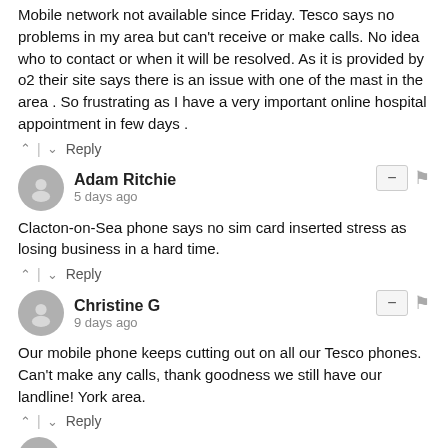Mobile network not available since Friday. Tesco says no problems in my area but can't receive or make calls. No idea who to contact or when it will be resolved. As it is provided by o2 their site says there is an issue with one of the mast in the area . So frustrating as I have a very important online hospital appointment in few days .
^ | v  Reply
Adam Ritchie
5 days ago
Clacton-on-Sea phone says no sim card inserted stress as losing business in a hard time.
^ | v  Reply
Christine G
9 days ago
Our mobile phone keeps cutting out on all our Tesco phones. Can't make any calls, thank goodness we still have our landline! York area.
^ | v  Reply
Stacey Joseph